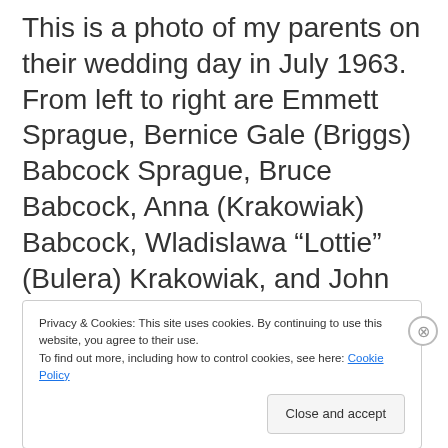This is a photo of my parents on their wedding day in July 1963. From left to right are Emmett Sprague, Bernice Gale (Briggs) Babcock Sprague, Bruce Babcock, Anna (Krakowiak) Babcock, Wladislawa “Lottie” (Bulera) Krakowiak, and John Krakowiak.
Privacy & Cookies: This site uses cookies. By continuing to use this website, you agree to their use.
To find out more, including how to control cookies, see here: Cookie Policy